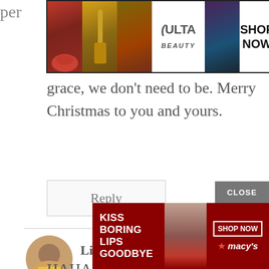[Figure (screenshot): Ulta beauty advertisement banner with makeup images and SHOP NOW button]
grace, we don’t need to be. Merry Christmas to you and yours.
Reply
Lisa {Amateur Nester} says:
HAHA, I LOVE the outtakes! Thanks for reminding us that no one per
[Figure (screenshot): Macy’s advertisement: KISS BORING LIPS GOODBYE, SHOP NOW, with lipstick model and CLOSE button]